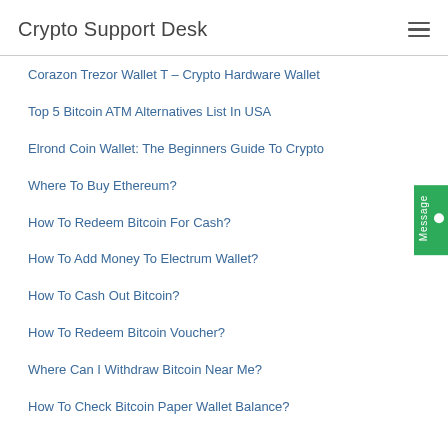Crypto Support Desk
Corazon Trezor Wallet T – Crypto Hardware Wallet
Top 5 Bitcoin ATM Alternatives List In USA
Elrond Coin Wallet: The Beginners Guide To Crypto
Where To Buy Ethereum?
How To Redeem Bitcoin For Cash?
How To Add Money To Electrum Wallet?
How To Cash Out Bitcoin?
How To Redeem Bitcoin Voucher?
Where Can I Withdraw Bitcoin Near Me?
How To Check Bitcoin Paper Wallet Balance?